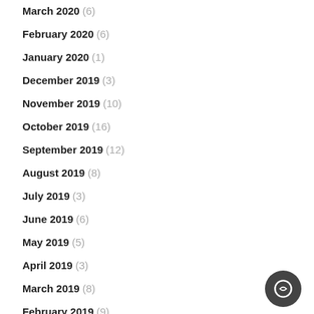March 2020 (6)
February 2020 (6)
January 2020 (1)
December 2019 (3)
November 2019 (10)
October 2019 (16)
September 2019 (12)
August 2019 (8)
July 2019 (3)
June 2019 (6)
May 2019 (5)
April 2019 (3)
March 2019 (8)
February 2019 (9)
January 2019 (4)
December 2018 (3)